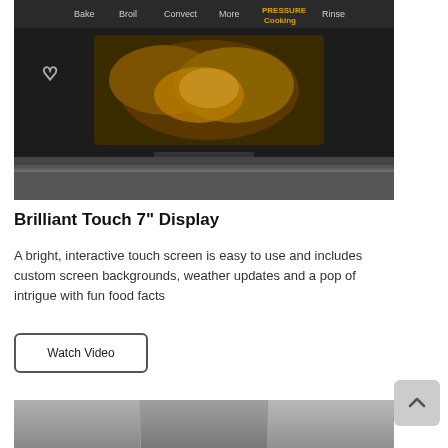[Figure (photo): Close-up photo of a dark smart oven control panel with a touchscreen showing menu options like Bake, Broil, Convect, More, Pressure Cooking, and a food image. A Remote Enable icon and phone icon are visible, along with a heart icon on the left.]
Brilliant Touch 7" Display
A bright, interactive touch screen is easy to use and includes custom screen backgrounds, weather updates and a pop of intrigue with fun food facts
Watch Video
[Figure (photo): Bottom portion of a dark oven appliance with panel sections visible, partially cropped.]